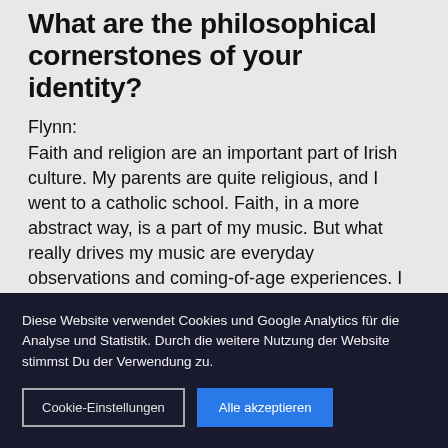What are the philosophical cornerstones of your identity?
Flynn:
Faith and religion are an important part of Irish culture. My parents are quite religious, and I went to a catholic school. Faith, in a more abstract way, is a part of my music. But what really drives my music are everyday observations and coming-of-age experiences. I try to really live in the sense that I put myself in difficult situations. I don't back out because,
Diese Website verwendet Cookies und Google Analytics für die Analyse und Statistik. Durch die weitere Nutzung der Website stimmst Du der Verwendung zu.